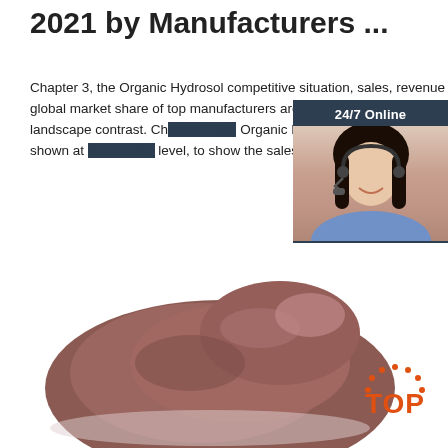2021 by Manufacturers ...
Chapter 3, the Organic Hydrosol competitive situation, sales, revenue and global market share of top manufacturers are analyzed emphatically by landscape contrast. Ch... Organic Hydrosol breakdown data are shown at ... level, to show the sales, revenue and growth by
Get Price
[Figure (other): 24/7 Online chat widget with a woman wearing a headset, dark background, 'Click here for free chat!' text and orange QUOTATION button]
[Figure (photo): Raw meat/organ (liver) on white background]
[Figure (logo): TOP logo in orange with dotted arc above]